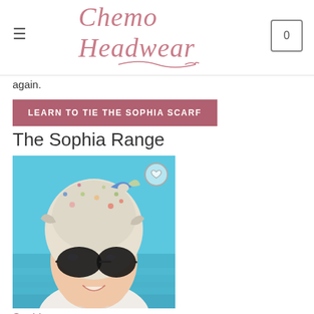Chemo Headwear
again.
Learn to tie the Sophia Scarf
The Sophia Range
[Figure (photo): Woman wearing a colourful patterned head scarf tied in a turban style with a bow, wearing large dark sunglasses, smiling, outdoors near a pool with blue water]
Sophia
£70.00